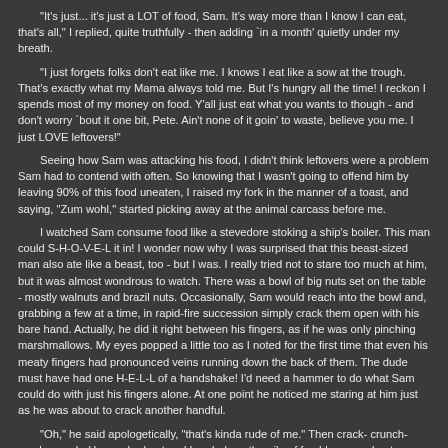"It's just... it's just a LOT of food, Sam. It's way more than I know I can eat, that's all," I replied, quite truthfully - then adding `in a month' quietly under my breath.
"I just forgets folks don't eat like me. I knows I eat like a sow at the trough. That's exactly what my Mama always told me. But I's hungry all the time! I reckon I spends most of my money on food. Y'all just eat what you wants to though - and don't worry `bout it one bit, Pete. Ain't none of it goin' to waste, believe you me. I just LOVE leftovers!"
Seeing how Sam was attacking his food, I didn't think leftovers were a problem Sam had to contend with often. So knowing that I wasn't going to offend him by leaving 90% of this food uneaten, I raised my fork in the manner of a toast, and saying, "Zum wohl," started picking away at the animal carcass before me.
I watched Sam consume food like a stevedore stoking a ship's boiler. This man could S-H-O-V-E-L it in! I wonder now why I was surprised that this beast-sized man also ate like a beast, too - but I was. I really tried not to stare too much at him, but it was almost wondrous to watch. There was a bowl of big nuts set on the table - mostly walnuts and brazil nuts. Occasionally, Sam would reach into the bowl and, grabbing a few at a time, in rapid-fire succession simply crack them open with his bare hand. Actually, he did it right between his fingers, as if he was only pinching marshmallows. My eyes popped a little too as I noted for the first time that even his meaty fingers had pronounced veins running down the back of them. The dude must have had one H-E-L-L of a handshake! I'd need a hammer to do what Sam could do with just his fingers alone. At one point he noticed me staring at him just as he was about to crack another handful.
"Oh," he said apologetically, "that's kinda rude of me." Then crack- crunch-crack-crunch. He reached out and handed me the pile of freshly-opened nuts saying, "I's sorry - I don't have a nutcracker. Just weren't nothin' I ever thought to buy."